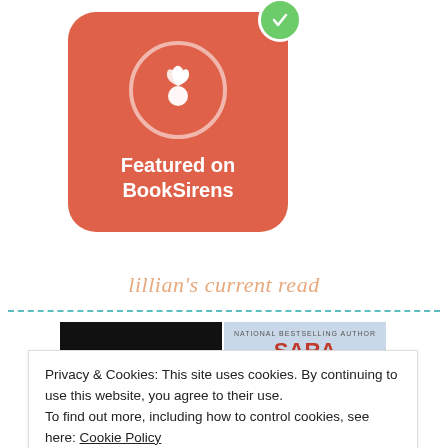[Figure (logo): BookSirens featured badge: red rounded square with butterfly icon in white circle, text 'Featured on BookSirens' in white, green checkmark circle in top-right corner]
lillian's current read
[Figure (photo): Two book covers side by side: 'Once Upon a Broken Heart' (dark cover) and a Sara Richardson book (light cover)]
Privacy & Cookies: This site uses cookies. By continuing to use this website, you agree to their use.
To find out more, including how to control cookies, see here: Cookie Policy
Close and accept